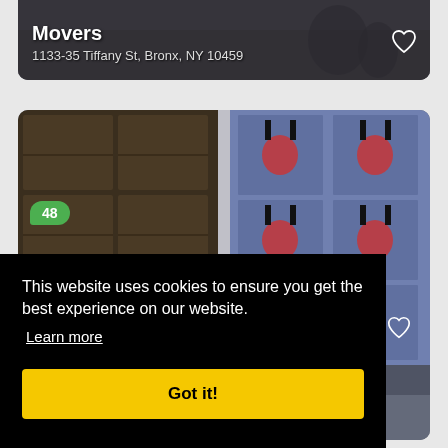Movers
1133-35 Tiffany St, Bronx, NY 10459
[Figure (photo): Photo of movers with brown cardboard boxes stacked on left and blue printed crates/boxes on right in a truck or warehouse setting]
48
This website uses cookies to ensure you get the best experience on our website.
Learn more
Got it!